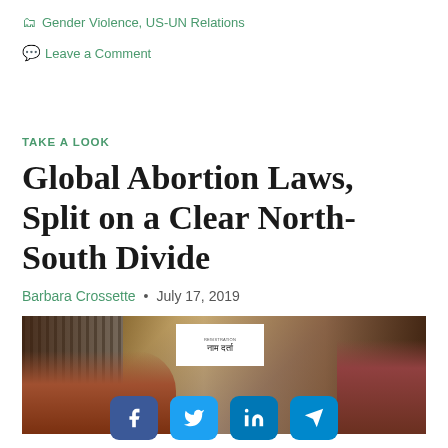Gender Violence, US-UN Relations
Leave a Comment
TAKE A LOOK
Global Abortion Laws, Split on a Clear North-South Divide
Barbara Crossette • July 17, 2019
[Figure (photo): Women standing near a registration sign written in Nepali (नाम दर्ता), appearing to be at some kind of registration or health clinic event.]
[Figure (infographic): Social sharing buttons for Facebook, Twitter, LinkedIn, and Telegram]